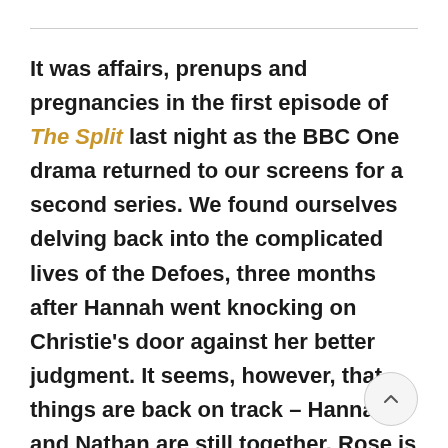It was affairs, prenups and pregnancies in the first episode of The Split last night as the BBC One drama returned to our screens for a second series. We found ourselves delving back into the complicated lives of the Defoes, three months after Hannah went knocking on Christie's door against her better judgment. It seems, however, that things are back on track – Hannah and Nathan are still together, Rose is having a baby and the Noble Hale Defoe merger w the smoothest in legal history. What could